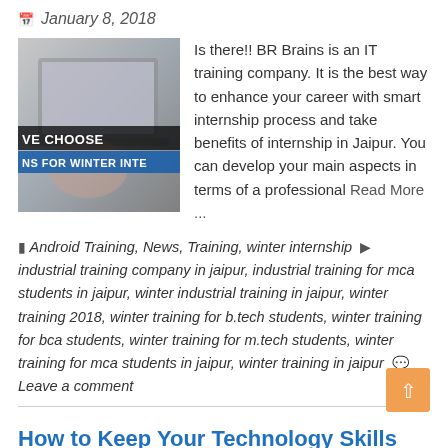January 8, 2018
[Figure (photo): Photo of a person using a laptop with overlay text 'WE CHOOSE NS FOR WINTER INTE']
Is there!! BR Brains is an IT training company. It is the best way to enhance your career with smart internship process and take benefits of internship in Jaipur. You can develop your main aspects in terms of a professional Read More ...
Android Training, News, Training, winter internship industrial training company in jaipur, industrial training for mca students in jaipur, winter industrial training in jaipur, winter training 2018, winter training for b.tech students, winter training for bca students, winter training for m.tech students, winter training for mca students in jaipur, winter training in jaipur  Leave a comment
How to Keep Your Technology Skills Up-